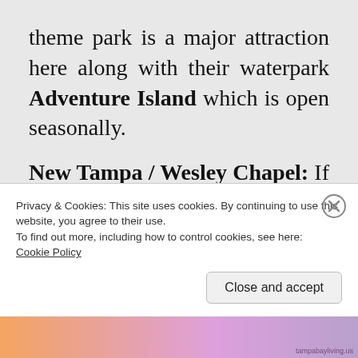theme park is a major attraction here along with their waterpark Adventure Island which is open seasonally.
New Tampa / Wesley Chapel: If you travel north from the University Area you'll find yourself in New Tampa and Wesley Chapel. This area was nothing but trees a decade or two ago, but is now
Privacy & Cookies: This site uses cookies. By continuing to use this website, you agree to their use.
To find out more, including how to control cookies, see here:
Cookie Policy
Close and accept